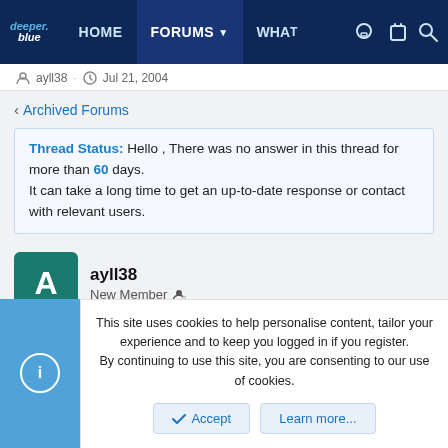DeeperBlue.com — HOME | FORUMS | WHAT
ayll38 · Jul 21, 2004
< Archived Forums
Thread Status: Hello , There was no answer in this thread for more than 60 days.
It can take a long time to get an up-to-date response or contact with relevant users.
ayll38
New Member
This site uses cookies to help personalise content, tailor your experience and to keep you logged in if you register.
By continuing to use this site, you are consenting to our use of cookies.